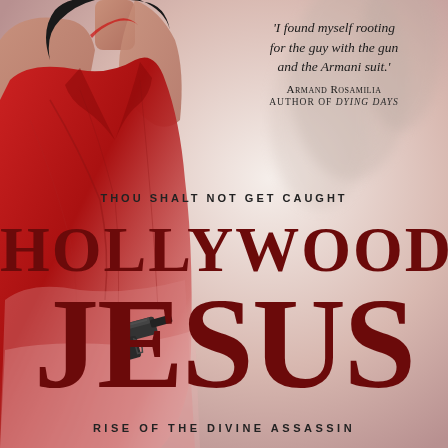[Figure (illustration): Book cover image: A woman in a red halter dress holding a gun, standing against a misty light background with faint foliage. The cover features a large dark red title 'HOLLYWOOD JESUS' and tagline 'THOU SHALT NOT GET CAUGHT' and subtitle 'RISE OF THE DIVINE ASSASSIN'. There is a pull quote from Armand Rosamilia.]
'I found myself rooting for the guy with the gun and the Armani suit.' Armand Rosamilia, author of Dying Days
THOU SHALT NOT GET CAUGHT
HOLLYWOOD JESUS
RISE OF THE DIVINE ASSASSIN